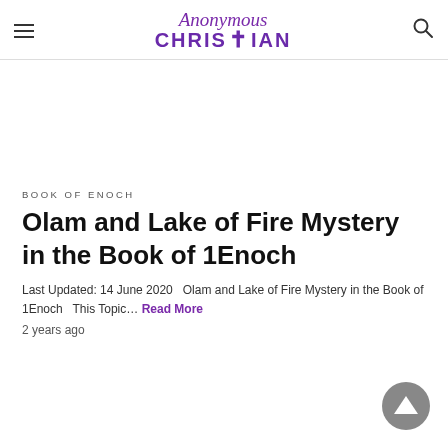Anonymous Christian
BOOK OF ENOCH
Olam and Lake of Fire Mystery in the Book of 1Enoch
Last Updated: 14 June 2020   Olam and Lake of Fire Mystery in the Book of 1Enoch   This Topic... Read More
2 years ago